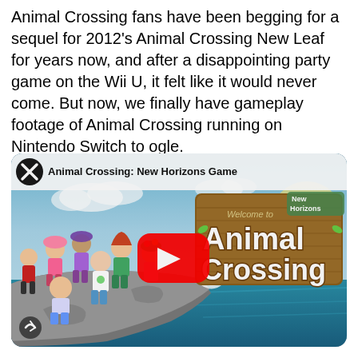Animal Crossing fans have been begging for a sequel for 2012's Animal Crossing New Leaf for years now, and after a disappointing party game on the Wii U, it felt like it would never come. But now, we finally have gameplay footage of Animal Crossing running on Nintendo Switch to ogle.
[Figure (screenshot): YouTube video thumbnail/embed for 'Animal Crossing: New Horizons Game' showing animated characters standing on a rocky coastal cliff, with the Animal Crossing New Horizons logo on the right side, a red YouTube play button in the center, and a share icon in the bottom left.]